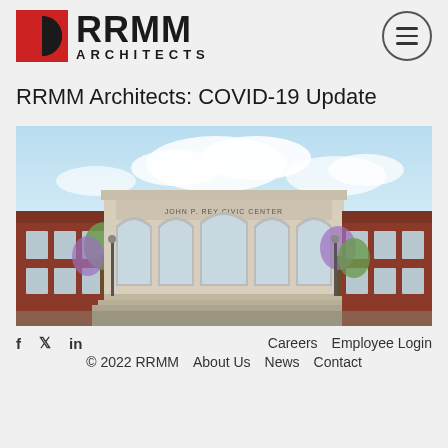[Figure (logo): RRMM Architects logo with red and black geometric icon on the left and hamburger menu circle button on the right]
RRMM Architects: COVID-19 Update
[Figure (photo): Architectural rendering of a building exterior — a large neoclassical civic building with arched windows and brick wings, labeled as a civic center, with trees and blue sky background]
f  in  Careers  Employee Login  © 2022 RRMM  About Us  News  Contact